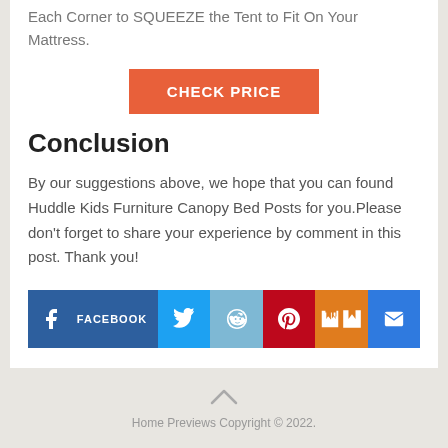Each Corner to SQUEEZE the Tent to Fit On Your Mattress.
[Figure (other): CHECK PRICE button in orange/red color]
Conclusion
By our suggestions above, we hope that you can found Huddle Kids Furniture Canopy Bed Posts for you.Please don’t forget to share your experience by comment in this post. Thank you!
[Figure (other): Social sharing buttons: Facebook, Twitter, Reddit, Pinterest, Mix, Email]
Home Previews Copyright © 2022.